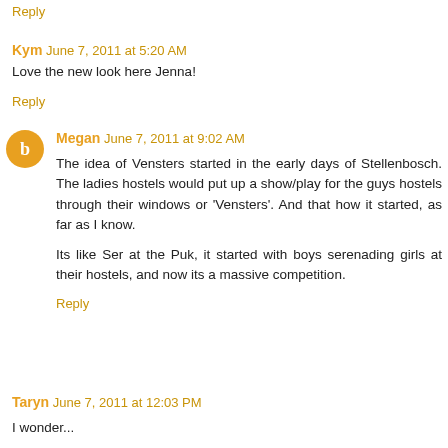Reply
Kym   June 7, 2011 at 5:20 AM
Love the new look here Jenna!
Reply
Megan   June 7, 2011 at 9:02 AM
The idea of Vensters started in the early days of Stellenbosch. The ladies hostels would put up a show/play for the guys hostels through their windows or 'Vensters'. And that how it started, as far as I know.

Its like Ser at the Puk, it started with boys serenading girls at their hostels, and now its a massive competition.
Reply
Taryn   June 7, 2011 at 12:03 PM
I wonder...